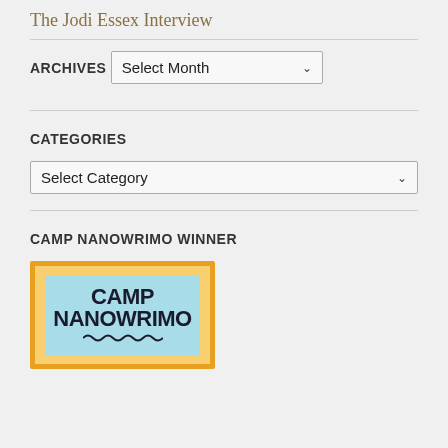The Jodi Essex Interview
ARCHIVES
[Figure (screenshot): Dropdown select box labeled 'Select Month' with a chevron arrow]
CATEGORIES
[Figure (screenshot): Dropdown select box labeled 'Select Category' with a chevron arrow]
CAMP NANOWRIMO WINNER
[Figure (logo): Camp NaNoWriMo winner badge with orange border and blue background showing 'CAMP NANOWRIMO' text in bold dark letters with a squiggly line below]